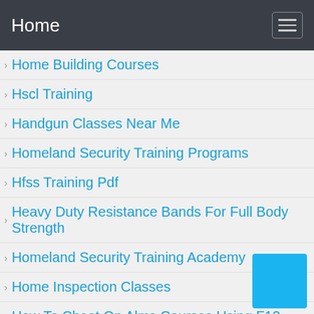Home
Home Building Courses
Hscl Training
Handgun Classes Near Me
Homeland Security Training Programs
Hfss Training Pdf
Heavy Duty Resistance Bands For Full Body Strength
Homeland Security Training Academy
Home Inspection Classes
How To Cheat On Alms Courses Using F12
Handgun Courses Near Me
Html Courses
Hondros Online Real Estate Classes